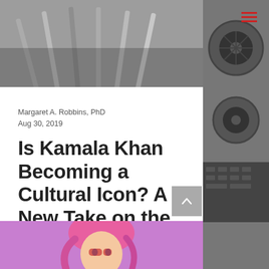[Figure (photo): Grayscale background photo showing what appears to be film reels, pens, and camera equipment]
Margaret A. Robbins, PhD
Aug 30, 2019
Is Kamala Khan Becoming a Cultural Icon? A New Take on the Ms. Marvel Narrative with Team-Ups
[Figure (illustration): Illustration at the bottom showing a cartoon/comic character with pink hair, partially visible, on a purple background]